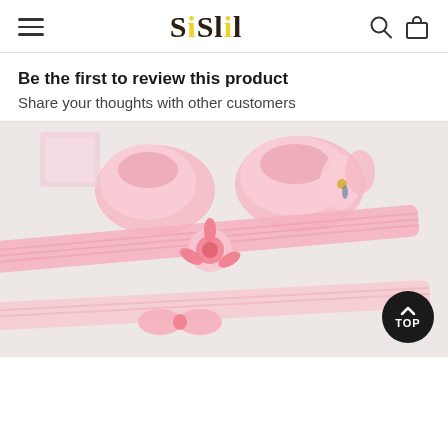Sislil
Be the first to review this product
Share your thoughts with other customers
[Figure (photo): Baby pink shoes/booties and lace floral headbands arranged on a light grey surface, product photo for an e-commerce listing]